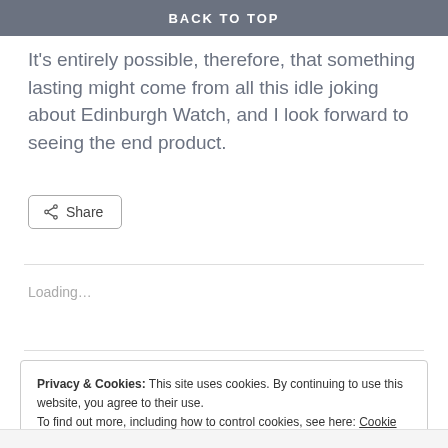BACK TO TOP
It's entirely possible, therefore, that something lasting might come from all this idle joking about Edinburgh Watch, and I look forward to seeing the end product.
Share
Loading…
Privacy & Cookies: This site uses cookies. By continuing to use this website, you agree to their use. To find out more, including how to control cookies, see here: Cookie Policy
Close and accept